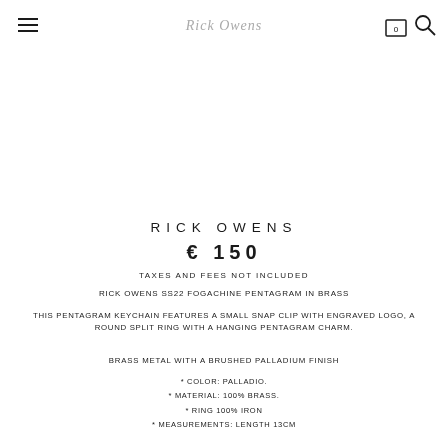Rick Owens
RICK OWENS
€ 150
TAXES AND FEES NOT INCLUDED
RICK OWENS SS22 FOGACHINE PENTAGRAM IN BRASS
THIS PENTAGRAM KEYCHAIN FEATURES A SMALL SNAP CLIP WITH ENGRAVED LOGO, A ROUND SPLIT RING WITH A HANGING PENTAGRAM CHARM.
BRASS METAL WITH A BRUSHED PALLADIUM FINISH
* COLOR: PALLADIO.
* MATERIAL: 100% BRASS.
* RING 100% IRON
* MEASUREMENTS: LENGTH 13CM